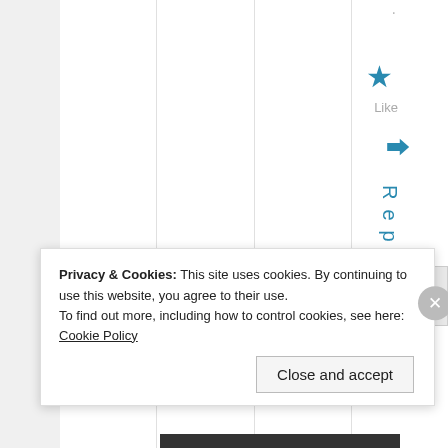[Figure (screenshot): Website interface showing vertical columns with a right sidebar containing a star icon labeled 'Like', a reply arrow icon, and the word 'Reply' written vertically in blue text. A gray box appears in the lower right of the content area.]
Privacy & Cookies: This site uses cookies. By continuing to use this website, you agree to their use.
To find out more, including how to control cookies, see here: Cookie Policy
Close and accept